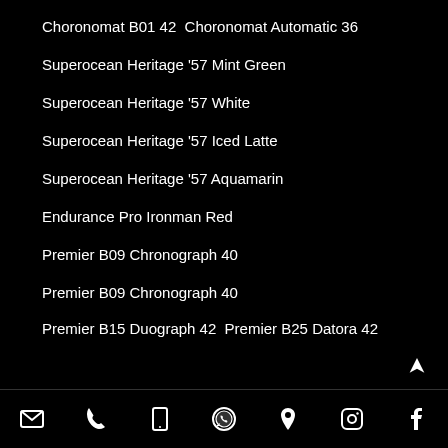Choronomat B01 42  Choronomat Automatic 36
Superocean Heritage '57 Mint Green
Superocean Heritage '57 White
Superocean Heritage '57 Iced Latte
Superocean Heritage '57 Aquamarin
Endurance Pro Ironman Red
Premier B09 Chronograph 40
Premier B09 Chronograph 40
Premier B15 Duograph 42  Premier B25 Datora 42
email | phone | mobile | whatsapp | location | instagram | facebook